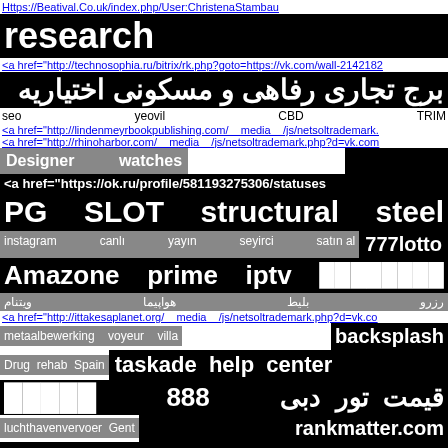Https://Beatival.Co.uk/index.php/User:ChristenaStambau
research
<a href="http://technosophia.ru/bitrix/rk.php?goto=https://vk.com/wall-2142182
برج تجاری رفاهی و مسکونی اختیاریه
seo    yeovil    CBD    TRIM
<a href="http://lindenmeyrbookpublishing.com/__media__/js/netsoltrademark.
<a href="http://rhinoharbor.com/__media__/js/netsoltrademark.php?d=vk.com
Designer    watches    ████████
<a href="https://ok.ru/profile/581193275306/statuses
PG    SLOT    structural    steel
instagram    canlı    yayın    seyirci    satın al    777lotto
Amazone    prime    iptv    ████████
ویتنام    هواپیما    بلیط    رزرو
<a href="http://ittakesaplanet.org/__media__/js/netsoltrademark.php?d=vk.co
metaalbewerking    voyeur    villa    backsplash
Drug    rehab    Spain    taskade    help    center
█████    888    قیمت    تور    دبی
luchthavenvervoer    Gent    rankmatter.com
vpn    firestick    blocked    drains    twickenham
prestige    park    grove    price